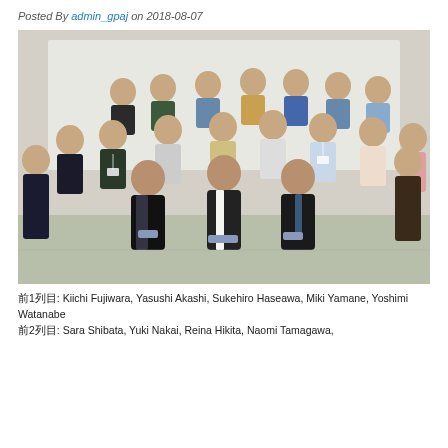Posted By admin_gpaj on 2018-08-07
[Figure (photo): Group photo of approximately 23 people — students and faculty — posed in rows in a classroom or seminar room. Three older men (faculty) are seated in the front row center. Students surround them in standing rows.]
前1列目: Kiichi Fujiwara, Yasushi Akashi, Sukehiro Haseawa, Miki Yamane, Yoshimi Watanabe
前2列目: Sara Shibata, Yuki Nakai, Reina Hikita, Naomi Tamagawa,